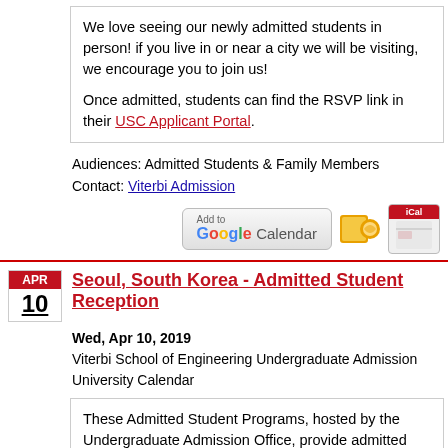We love seeing our newly admitted students in person! if you live in or near a city we will be visiting, we encourage you to join us!

Once admitted, students can find the RSVP link in their USC Applicant Portal.
Audiences: Admitted Students & Family Members
Contact: Viterbi Admission
[Figure (other): Add to Google Calendar, Outlook calendar, and iCal buttons]
Seoul, South Korea - Admitted Student Reception
Wed, Apr 10, 2019
Viterbi School of Engineering Undergraduate Admission
University Calendar
These Admitted Student Programs, hosted by the Undergraduate Admission Office, provide admitted students and their families an opportunity to meet admission counselors, representatives from academic departments, alumni, and you will have the opportunity to meet other admitted students from your local area. Viterbi and University Admission counselors will be there to answer any